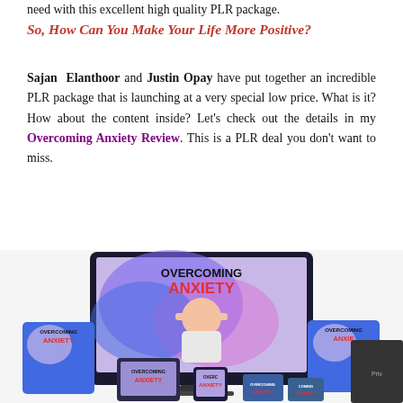need with this excellent high quality PLR package.
So, How Can You Make Your Life More Positive?
Sajan Elanthoor and Justin Opay have put together an incredible PLR package that is launching at a very special low price. What is it? How about the content inside? Let’s check out the details in my Overcoming Anxiety Review. This is a PLR deal you don’t want to miss.
[Figure (photo): Product mockup showing multiple device screens (monitor, tablet, phone, book covers) all displaying the 'Overcoming Anxiety' branding with a woman holding her head, blue/purple swirling background design.]